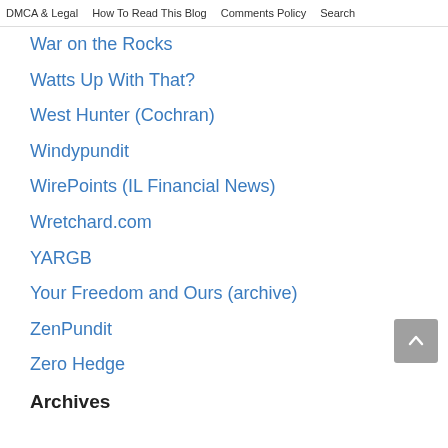DMCA & Legal   How To Read This Blog   Comments Policy   Search
War on the Rocks
Watts Up With That?
West Hunter (Cochran)
Windypundit
WirePoints (IL Financial News)
Wretchard.com
YARGB
Your Freedom and Ours (archive)
ZenPundit
Zero Hedge
Archives